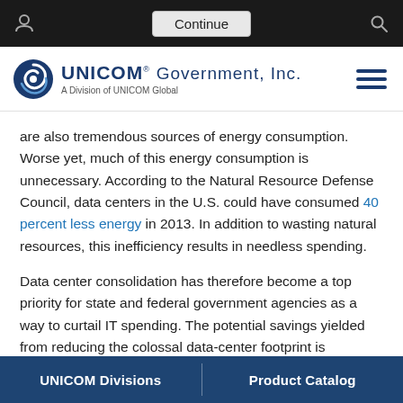Continue
[Figure (logo): UNICOM Government, Inc. logo — A Division of UNICOM Global]
are also tremendous sources of energy consumption. Worse yet, much of this energy consumption is unnecessary. According to the Natural Resource Defense Council, data centers in the U.S. could have consumed 40 percent less energy in 2013. In addition to wasting natural resources, this inefficiency results in needless spending.
Data center consolidation has therefore become a top priority for state and federal government agencies as a way to curtail IT spending. The potential savings yielded from reducing the colossal data-center footprint is indisputable. In fact, as of 2011, U.S. federal agencies projected that it would be able to save up to $5 billion as a result of data center consolidation.
UNICOM Divisions | Product Catalog